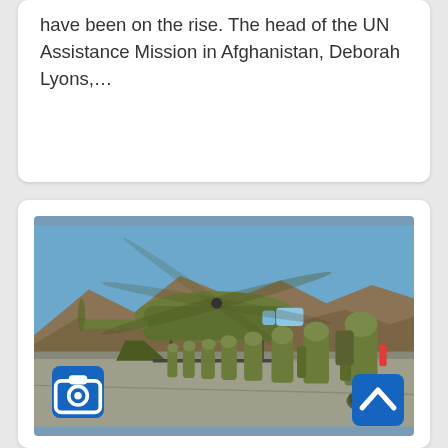have been on the rise. The head of the UN Assistance Mission in Afghanistan, Deborah Lyons,…
[Figure (photo): Military soldiers boarding a CH-47 Chinook helicopter on a tarmac with mountains in the background. Soldiers in full combat gear line up to board the large military helicopter. A camera icon button and a scroll-to-top button are overlaid on the image.]